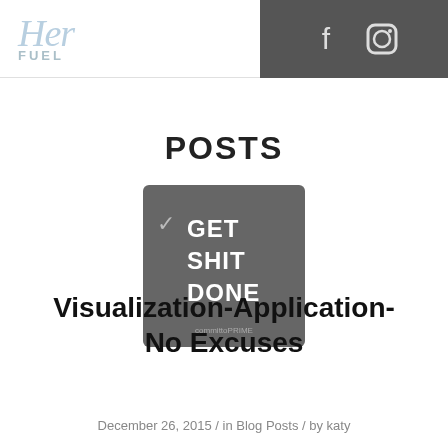Her Fuel — navigation header with hamburger menu and social icons (Facebook, Instagram)
POSTS
[Figure (photo): Dark grey square image with text 'GET SHIT DONE' and a checkmark]
Visualization-Application-No Excuses
December 26, 2015 / in Blog Posts / by katy